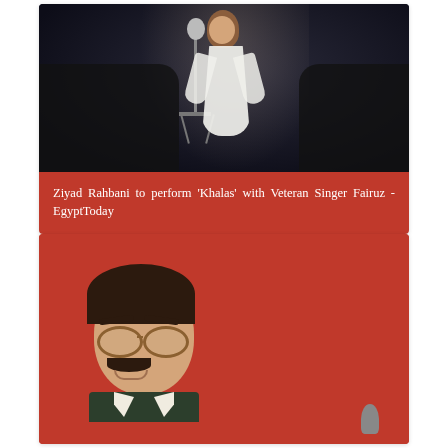[Figure (photo): Woman in white dress singing on stage at a concert, standing at a microphone with an orchestra visible in the dark background]
Ziyad Rahbani to perform 'Khalas' with Veteran Singer Fairuz - EgyptToday
[Figure (photo): Man with mustache and round glasses against a bright red background, appears to be a performer or actor, with a microphone visible at the bottom]